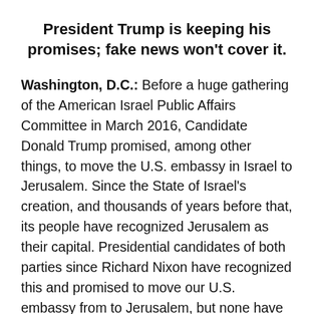President Trump is keeping his promises; fake news won't cover it.
Washington, D.C.: Before a huge gathering of the American Israel Public Affairs Committee in March 2016, Candidate Donald Trump promised, among other things, to move the U.S. embassy in Israel to Jerusalem. Since the State of Israel's creation, and thousands of years before that, its people have recognized Jerusalem as their capital. Presidential candidates of both parties since Richard Nixon have recognized this and promised to move our U.S. embassy from to Jerusalem, but none have followed through.